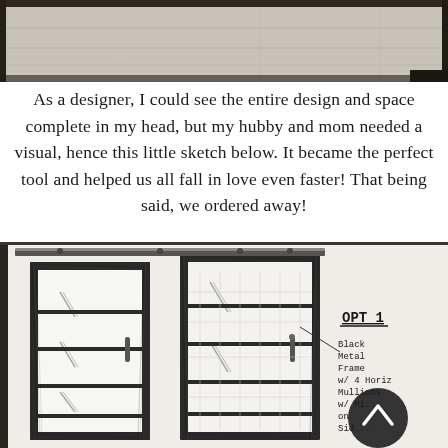[Figure (photo): Top portion of a photo showing a wood-tone floor, partially cropped, with dark borders on left and right edges.]
As a designer, I could see the entire design and space complete in my head, but my hubby and mom needed a visual, hence this little sketch below. It became the perfect tool and helped us all fall in love even faster! That being said, we ordered away!
[Figure (photo): Hand-drawn sketch of a black metal frame sliding shower door with 4 horizontal mullions and mirrors on the sides, labeled 'OPT 1 Black Metal Frame w/ 4 Horiz Mullions w/ Mirrors on Sides'. A circular back-to-top button overlaps the lower right.]